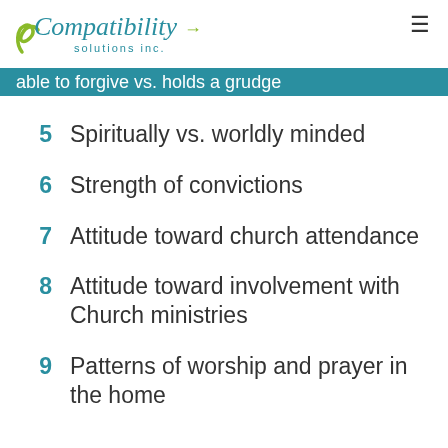Compatibility solutions inc.
4  able to forgive vs. holds a grudge
5  Spiritually vs. worldly minded
6  Strength of convictions
7  Attitude toward church attendance
8  Attitude toward involvement with Church ministries
9  Patterns of worship and prayer in the home